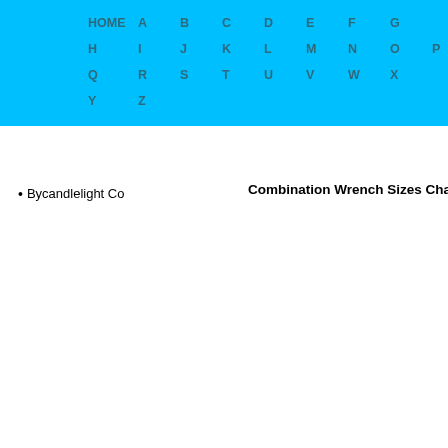HOME A B C D E F G H I J K L M N O P Q R S T U V W X Y Z
Bycandlelight Co   Combination Wrench Sizes Chart